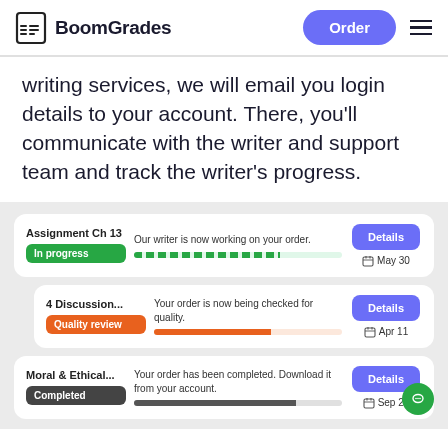BoomGrades
writing services, we will email you login details to your account. There, you'll communicate with the writer and support team and track the writer's progress.
[Figure (screenshot): Order card: Assignment Ch 13, In progress badge, 'Our writer is now working on your order.', green dashed progress bar, Details button, May 30 date]
[Figure (screenshot): Order card: 4 Discussion..., Quality review badge, 'Your order is now being checked for quality.', orange progress bar, Details button, Apr 11 date]
[Figure (screenshot): Order card: Moral & Ethical..., Completed badge, 'Your order has been completed. Download it from your account.', dark progress bar, Details button, Sep 20 date]